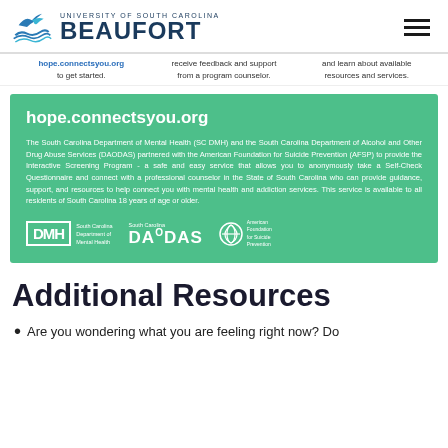University of South Carolina Beaufort
hope.connectsyou.org to get started. | receive feedback and support from a program counselor. | and learn about available resources and services.
hope.connectsyou.org
The South Carolina Department of Mental Health (SC DMH) and the South Carolina Department of Alcohol and Other Drug Abuse Services (DAODAS) partnered with the American Foundation for Suicide Prevention (AFSP) to provide the Interactive Screening Program - a safe and easy service that allows you to anonymously take a Self-Check Questionnaire and connect with a professional counselor in the State of South Carolina who can provide guidance, support, and resources to help connect you with mental health and addiction services. This service is available to all residents of South Carolina 18 years of age or older.
[Figure (logo): Logos of DMH (South Carolina Department of Mental Health), DAODAS, and American Foundation for Suicide Prevention]
Additional Resources
Are you wondering what you are feeling right now? Do